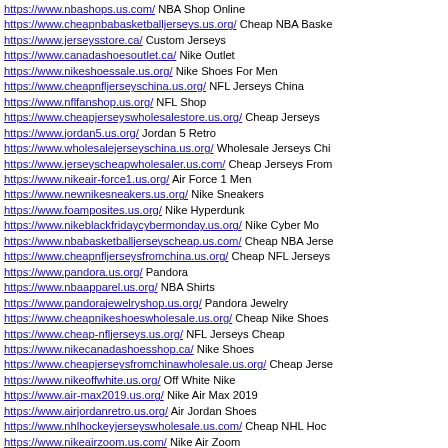https://www.nbashops.us.com/ NBA Shop Online
https://www.cheapnbabasketballjerseys.us.org/ Cheap NBA Baske
https://www.jerseysstore.ca/ Custom Jerseys
https://www.canadashoesoutlet.ca/ Nike Outlet
https://www.nikeshoessale.us.org/ Nike Shoes For Men
https://www.cheapnfljerseyschina.us.org/ NFL Jerseys China
https://www.nflfanshop.us.org/ NFL Shop
https://www.cheapjerseyswholesalestore.us.org/ Cheap Jerseys
https://www.jordan5.us.org/ Jordan 5 Retro
https://www.wholesalejerseyschina.us.org/ Wholesale Jerseys Chi
https://www.jerseyscheapwholesaler.us.com/ Cheap Jerseys From
https://www.nikeair-force1.us.org/ Air Force 1 Men
https://www.newnikesneakers.us.org/ Nike Sneakers
https://www.foamposites.us.org/ Nike Hyperdunk
https://www.nikeblackfridaycybermonday.us.org/ Nike Cyber Mo
https://www.nbabasketballjerseysche​ap.us.com/ Cheap NBA Jerse
https://www.cheapnfljerseysfromchina.us.org/ Cheap NFL Jerseys
https://www.pandora.us.org/ Pandora
https://www.nbaapparel.us.org/ NBA Shirts
https://www.pandorajewelryshop.us.org/ Pandora Jewelry
https://www.cheapnikeshoeswholesale.us.org/ Cheap Nike Shoes
https://www.cheap-nfljerseys.us.org/ NFL Jerseys Cheap
https://www.nikecanadashoesshop.ca/ Nike Shoes
https://www.cheapjerseysfromchinawholesale.us.org/ Cheap Jerse
https://www.nikeoffwhite.us.org/ Off White Nike
https://www.air-max2019.us.org/ Nike Air Max 2019
https://www.airjordanretro.us.org/ Air Jordan Shoes
https://www.nhlhockeyjerseyswholesale.us.com/ Cheap NHL Hoc
https://www.nikeairzoom.us.com/ Nike Air Zoom
https://www.newjordans.us.org/ New Jordan
https://www.newnikesshoes.us.org/ Nike Shoes
https://www.wholesalejordans.us.org/ Wholesale Jordans
https://www.nflshops.us.com/ Shop NFL Jerseys
https://www.nflproshop.us.com/ NFL Jerseys
https://www.newnfljerseys.us.com/ Best NFL Jerseys
https://www.newnbajerseys.us.org/ NBA Jerseys
https://www.cheapjerseyswholesale.us.org/ Jerseys Wholesale
https://www.newmall.us/ Pandora Jewelry